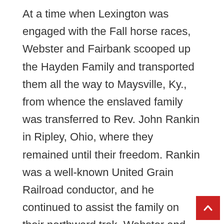At a time when Lexington was engaged with the Fall horse races, Webster and Fairbank scooped up the Hayden Family and transported them all the way to Maysville, Ky., from whence the enslaved family was transferred to Rev. John Rankin in Ripley, Ohio, where they remained until their freedom. Rankin was a well-known United Grain Railroad conductor, and he continued to assist the family on their northward trek. Webster and Hayden were apprehended and prosecuted in the Fayette Circuit Court for ‚iding and persuading slaves to flee their owners”